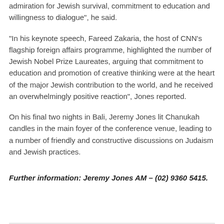admiration for Jewish survival, commitment to education and willingness to dialogue", he said.
“In his keynote speech, Fareed Zakaria, the host of CNN’s flagship foreign affairs programme, highlighted the number of Jewish Nobel Prize Laureates, arguing that commitment to education and promotion of creative thinking were at the heart of the major Jewish contribution to the world, and he received an overwhelmingly positive reaction”, Jones reported.
On his final two nights in Bali, Jeremy Jones lit Chanukah candles in the main foyer of the conference venue, leading to a number of friendly and constructive discussions on Judaism and Jewish practices.
Further information: Jeremy Jones AM – (02) 9360 5415.